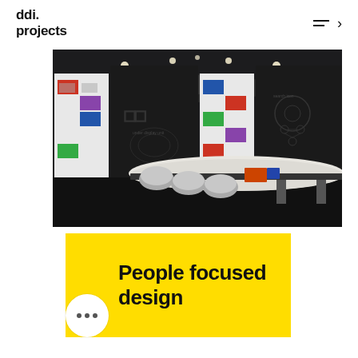ddi projects
[Figure (photo): Interior photo of a modern conference/innovation room with curved white table, designer chairs, black walls with colorful illuminated display panels showing colored tiles and photos, and ceiling recessed lighting.]
People focused design